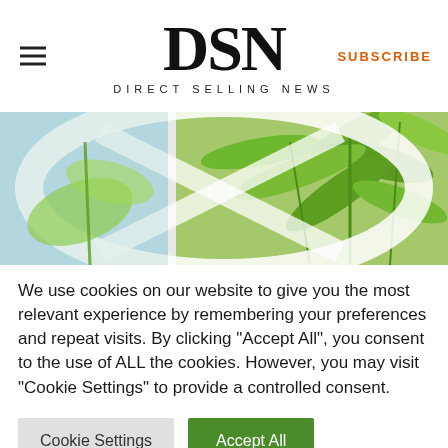DSN — DIRECT SELLING NEWS
[Figure (photo): Close-up photo of cannabis/hemp plant leaves viewed through circular magnifying lens elements, against a light blue sky background. Two panel composite image.]
We use cookies on our website to give you the most relevant experience by remembering your preferences and repeat visits. By clicking "Accept All", you consent to the use of ALL the cookies. However, you may visit "Cookie Settings" to provide a controlled consent.
Cookie Settings | Accept All